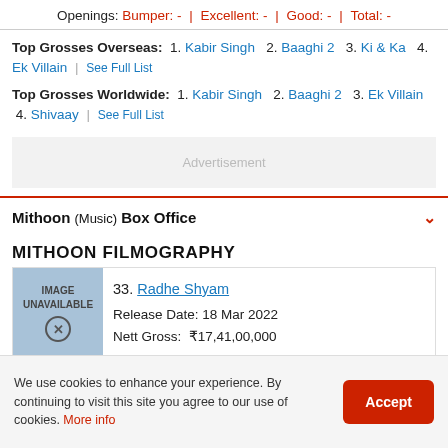Openings: Bumper: - | Excellent: - | Good: - | Total: -
Top Grosses Overseas: 1. Kabir Singh 2. Baaghi 2 3. Ki & Ka 4. Ek Villain | See Full List
Top Grosses Worldwide: 1. Kabir Singh 2. Baaghi 2 3. Ek Villain 4. Shivaay | See Full List
[Figure (other): Advertisement placeholder box]
Mithoon (Music) Box Office
MITHOON FILMOGRAPHY
33. Radhe Shyam
Release Date: 18 Mar 2022
Nett Gross: ₹17,41,00,000
We use cookies to enhance your experience. By continuing to visit this site you agree to our use of cookies. More info